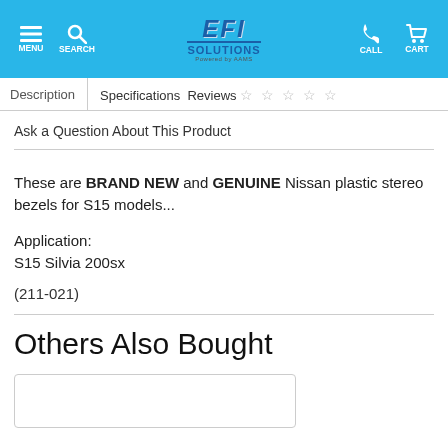MENU | SEARCH | EFI SOLUTIONS | CALL | CART
| Description | Specifications | Reviews |
| --- | --- | --- |
Ask a Question About This Product
These are BRAND NEW and GENUINE Nissan plastic stereo bezels for S15 models...
Application:
S15 Silvia 200sx
(211-021)
Others Also Bought